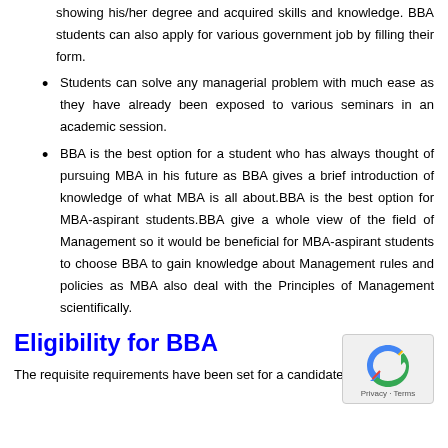showing his/her degree and acquired skills and knowledge. BBA students can also apply for various government job by filling their form.
Students can solve any managerial problem with much ease as they have already been exposed to various seminars in an academic session.
BBA is the best option for a student who has always thought of pursuing MBA in his future as BBA gives a brief introduction of knowledge of what MBA is all about.BBA is the best option for MBA-aspirant students.BBA give a whole view of the field of Management so it would be beneficial for MBA-aspirant students to choose BBA to gain knowledge about Management rules and policies as MBA also deal with the Principles of Management scientifically.
Eligibility for BBA
The requisite requirements have been set for a candidate who